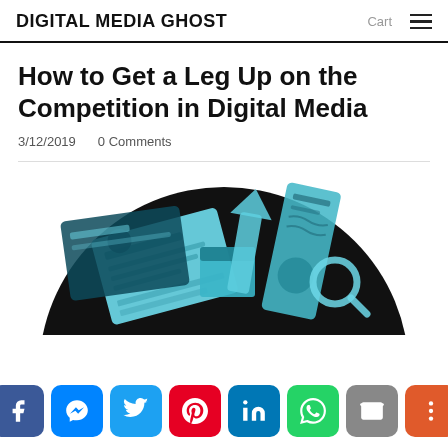DIGITAL MEDIA GHOST
How to Get a Leg Up on the Competition in Digital Media
3/12/2019   0 Comments
[Figure (illustration): Illustration of digital media objects (cards, screens, icons) in teal/cyan colors on a black circular background]
Social sharing buttons: Facebook, Messenger, Twitter, Pinterest, LinkedIn, WhatsApp, Email, More